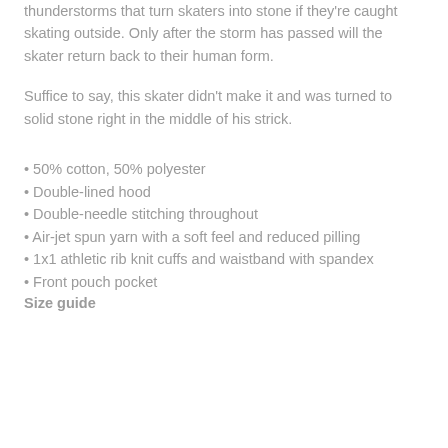thunderstorms that turn skaters into stone if they're caught skating outside. Only after the storm has passed will the skater return back to their human form.
Suffice to say, this skater didn't make it and was turned to solid stone right in the middle of his strick.
50% cotton, 50% polyester
Double-lined hood
Double-needle stitching throughout
Air-jet spun yarn with a soft feel and reduced pilling
1x1 athletic rib knit cuffs and waistband with spandex
Front pouch pocket
Size guide